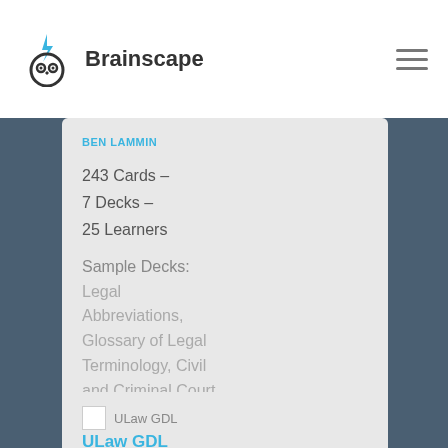[Figure (logo): Brainscape logo: owl/cat face icon with lightning bolt above, followed by bold text 'Brainscape']
BEN LAMMIN
243 Cards –
7 Decks –
25 Learners
Sample Decks: Legal Abbreviations, Glossary of Legal Terminology, Civil and Criminal Court Structure
[Figure (screenshot): Partial card panel showing ULaw GDL branding logo and beginning of 'ULaw GDL' title text in blue]